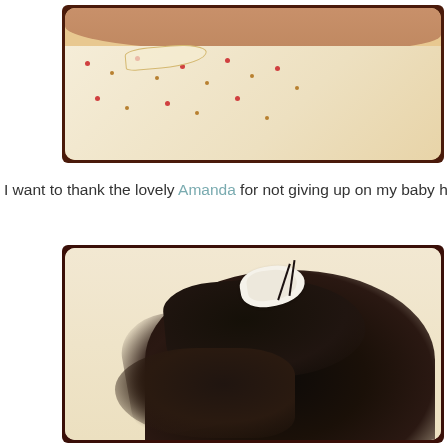[Figure (photo): Cropped photo of a person wearing a floral/polka-dot strapless dress, showing bare shoulders and upper torso area, with vintage-style framing/border]
I want to thank the lovely Amanda for not giving up on my baby hair,
[Figure (photo): Close-up photo of dark hair pinned up in an updo style with a white bow/ribbon hair accessory and bobby pins, on a cream/sepia background]